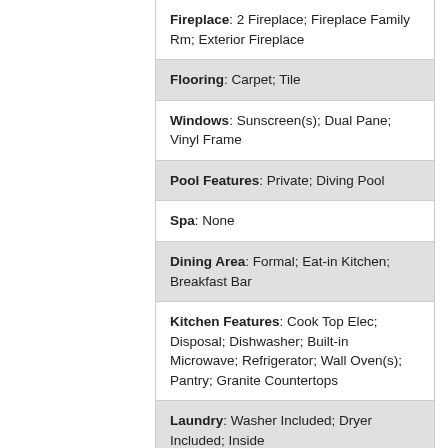Fireplace: 2 Fireplace; Fireplace Family Rm; Exterior Fireplace
Flooring: Carpet; Tile
Windows: Sunscreen(s); Dual Pane; Vinyl Frame
Pool Features: Private; Diving Pool
Spa: None
Dining Area: Formal; Eat-in Kitchen; Breakfast Bar
Kitchen Features: Cook Top Elec; Disposal; Dishwasher; Built-in Microwave; Refrigerator; Wall Oven(s); Pantry; Granite Countertops
Laundry: Washer Included; Dryer Included; Inside
Other Rooms: Family Room; Great